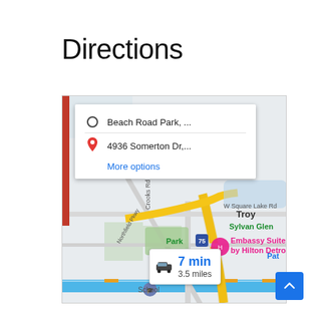Directions
[Figure (map): Google Maps screenshot showing directions from Beach Road Park to 4936 Somerton Dr, Troy MI area. Overlay shows route options box with origin 'Beach Road Park, ...' and destination '4936 Somerton Dr,...' with 'More options' link. Map shows the Troy / Sylvan Glen area with roads including W Square Lake Rd, Crooks Rd, Northfield Pkwy and I-75. A blue highlighted route runs along the bottom. Embassy Suites by Hilton Detroit is labeled on the map. A duration callout shows a car icon, '7 min' and '3.5 miles'.]